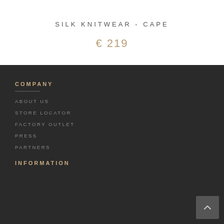SILK KNITWEAR - CAPE
€ 219
COMPANY
ABOUT US
STORE LOCATOR
FACTORY OUTLET
PRESS
PARTNERS
INFORMATION